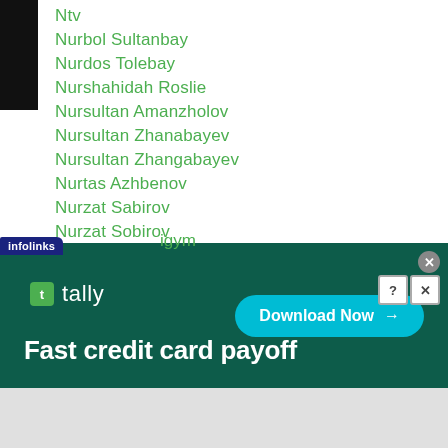Ntv
Nurbol Sultanbay
Nurdos Tolebay
Nurshahidah Roslie
Nursultan Amanzholov
Nursultan Zhanabayev
Nursultan Zhangabayev
Nurtas Azhbenov
Nurzat Sabirov
Nurzat Sobirov
Nuwan-jayakody
NYE
Odds
Odiljon Aslonov
Officials
igym
[Figure (screenshot): Advertisement banner for Tally app: 'Fast credit card payoff' with Download Now button on dark green background]